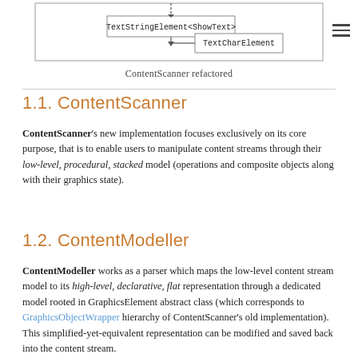[Figure (engineering-diagram): UML class diagram showing TextStringElement<ShowText> with an arrow pointing to TextCharElement, partial view of ContentScanner refactored diagram]
ContentScanner refactored
1.1. ContentScanner
ContentScanner's new implementation focuses exclusively on its core purpose, that is to enable users to manipulate content streams through their low-level, procedural, stacked model (operations and composite objects along with their graphics state).
1.2. ContentModeller
ContentModeller works as a parser which maps the low-level content stream model to its high-level, declarative, flat representation through a dedicated model rooted in GraphicsElement abstract class (which corresponds to GraphicsObjectWrapper hierarchy of ContentScanner's old implementation). This simplified-yet-equivalent representation can be modified and saved back into the content stream.